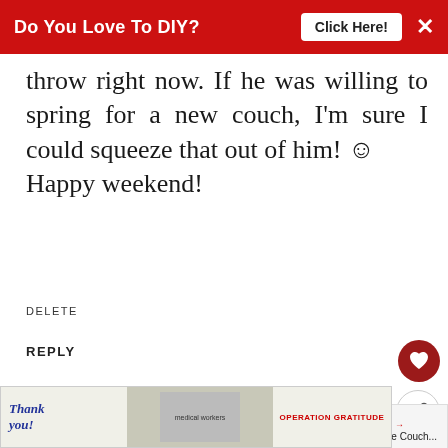[Figure (screenshot): Red banner advertisement: 'Do You Love To DIY? Click Here!' with close X button]
throw right now. If he was willing to spring for a new couch, I'm sure I could squeeze that out of him! ☺ Happy weekend!
DELETE
REPLY
Lorri
MARCH 2, 2018 AT 2:56 PM
I think that you did great. It will save the rest of the fabric from more
[Figure (screenshot): What's Next widget showing 'A Cottage Style Couch...' with thumbnail image]
[Figure (photo): Advertisement banner: 'Thank you!' Operation Gratitude with medical workers photo]